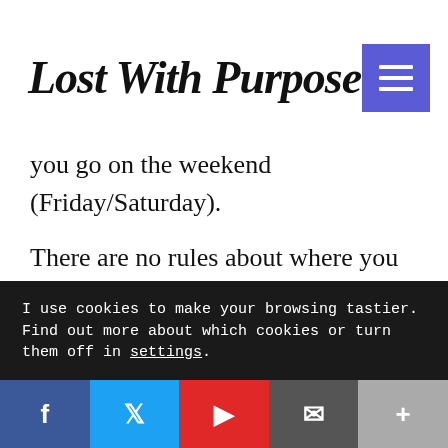Lost With Purpose
you go on the weekend (Friday/Saturday).
There are no rules about where you can and cannot camp, although you should avoid blatant trespassing. If you plan to camp along the road, consider finding a prayer stop. People understand if you pitch your tent by one, and likely won't mind if you sleep in the prayer hall.
I use cookies to make your browsing tastier. Find out more about which cookies or turn them off in settings.
Social share buttons: Facebook, Twitter, Flipboard, Email, More